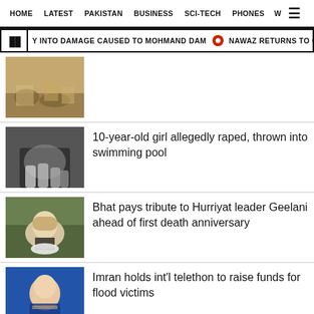HOME  LATEST  PAKISTAN  BUSINESS  SCI-TECH  PHONES  W
Y INTO DAMAGE CAUSED TO MOHMAND DAM  •  NAWAZ RETURNS TO COUNTRY'S
[Figure (photo): People wading through flood water]
10-year-old girl allegedly raped, thrown into swimming pool
[Figure (photo): Black and white image of hands covering face]
Bhat pays tribute to Hurriyat leader Geelani ahead of first death anniversary
[Figure (photo): Elderly bearded man with cap, Geelani]
Imran holds int'l telethon to raise funds for flood victims
[Figure (photo): Man in suit on blue background, Imran]